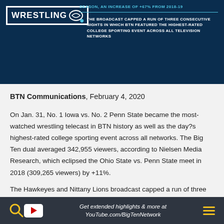WRESTLING — SEASON, AN INCREASE OF +67% FROM 2018-19 — THE BROADCAST CAPPED A RUN OF THREE CONSECUTIVE NIGHTS IN WHICH BTN FEATURED THE HIGHEST-RATED COLLEGE SPORTING EVENT ACROSS ALL TELEVISION NETWORKS
BTN Communications, February 4, 2020
On Jan. 31, No. 1 Iowa vs. No. 2 Penn State became the most-watched wrestling telecast in BTN history as well as the day?s highest-rated college sporting event across all networks. The Big Ten dual averaged 342,955 viewers, according to Nielsen Media Research, which eclipsed the Ohio State vs. Penn State meet in 2018 (309,265 viewers) by +11%.
The Hawkeyes and Nittany Lions broadcast capped a run of three consecutive nights in which BTN featured the highest-rated college sporting event across all television networks. On Wednesday night,
Get extended highlights & more at YouTube.com/BigTenNetwork